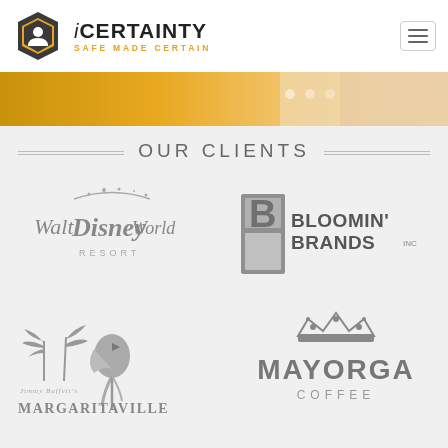iCERTAINTY — SAFE MADE CERTAIN
[Figure (photo): Hero banner image with golden gradient and person in background]
OUR CLIENTS
[Figure (logo): Walt Disney World Resort logo in grayscale]
[Figure (logo): Bloomin' Brands Inc logo in grayscale]
[Figure (logo): Jimmy Buffett's Margaritaville logo in grayscale with parrot]
[Figure (logo): Mayorga Coffee logo in grayscale with crown]